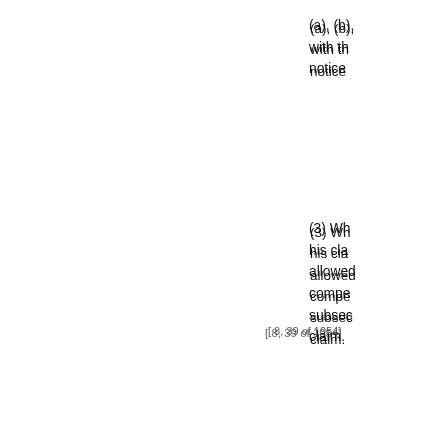(a), (b), with th notice
[ 8, 39 of 1954]
(3) Wh his cla allowed compe subsec claim.
(4) An referen District land or with th where to the